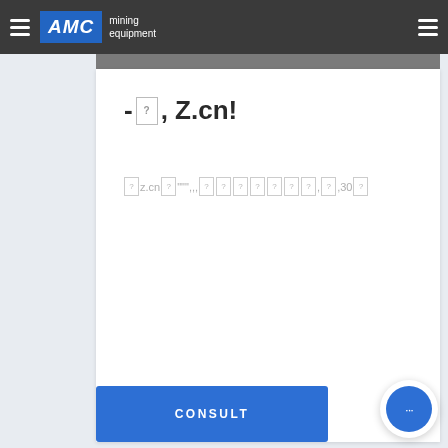AMC mining equipment
-[?], Z.cn!
[z.cn]["""",,,[?][?][?][?][?][?][?],[?],30[?]
CONSULT